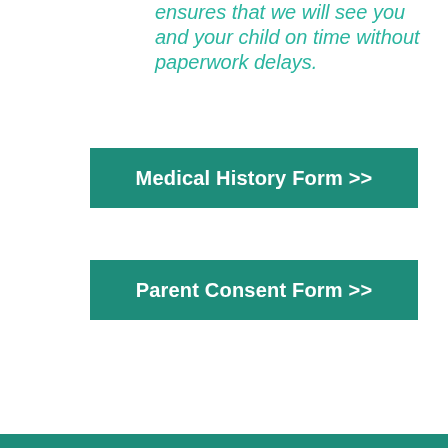ensures that we will see you and your child on time without paperwork delays.
Medical History Form >>
Parent Consent Form >>